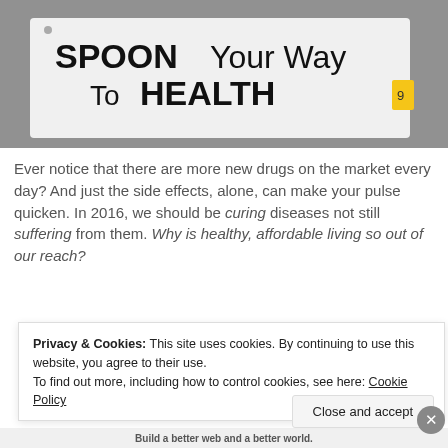[Figure (photo): Photo of a sign reading 'SPOON Your Way To HEALTH' with a person visible in the background]
Ever notice that there are more new drugs on the market every day? And just the side effects, alone, can make your pulse quicken. In 2016, we should be curing diseases not still suffering from them. Why is healthy, affordable living so out of our reach?
[Figure (screenshot): Apply button (blue) and circular person thumbnail photo]
Privacy & Cookies: This site uses cookies. By continuing to use this website, you agree to their use.
To find out more, including how to control cookies, see here: Cookie Policy
Close and accept
Build a better web and a better world.